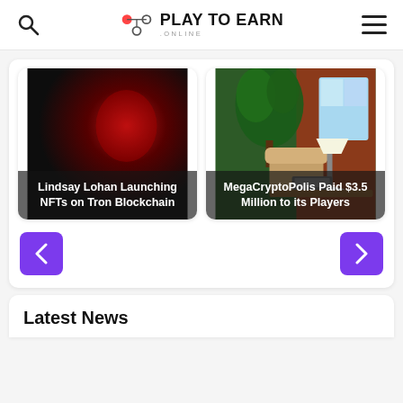Play To Earn Online
[Figure (screenshot): Card with dark/red background for 'Lindsay Lohan Launching NFTs on Tron Blockchain']
Lindsay Lohan Launching NFTs on Tron Blockchain
[Figure (illustration): Card with illustrated interior scene (plant, chair, lamp) for 'MegaCryptoPolis Paid $3.5 Million to its Players']
MegaCryptoPolis Paid $3.5 Million to its Players
Latest News